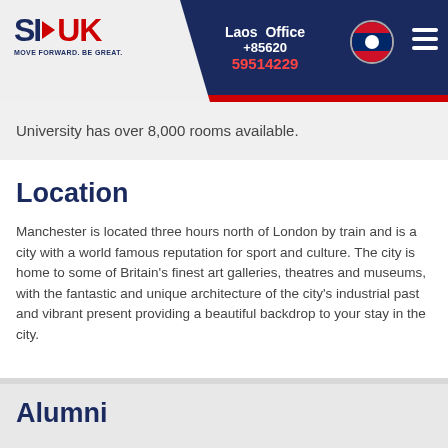SI-UK | Laos Office +85620 59514229
University has over 8,000 rooms available.
Location
Manchester is located three hours north of London by train and is a city with a world famous reputation for sport and culture. The city is home to some of Britain's finest art galleries, theatres and museums, with the fantastic and unique architecture of the city's industrial past and vibrant present providing a beautiful backdrop to your stay in the city.
Alumni
Louis de Bernières – Author
Dr Mark Kermode – Film Critic
Ben Elton – Writer and Comedian